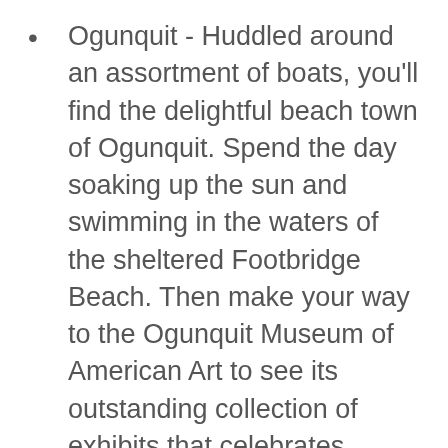Ogunquit - Huddled around an assortment of boats, you'll find the delightful beach town of Ogunquit. Spend the day soaking up the sun and swimming in the waters of the sheltered Footbridge Beach. Then make your way to the Ogunquit Museum of American Art to see its outstanding collection of exhibits that celebrates American art.
Monhegan Island - You'll have to take a boat to reach this lovely little island retreat, but it is well worth it. A tiny charismatic village awaits you